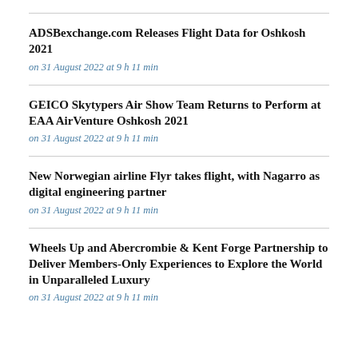ADSBexchange.com Releases Flight Data for Oshkosh 2021
on 31 August 2022 at 9 h 11 min
GEICO Skytypers Air Show Team Returns to Perform at EAA AirVenture Oshkosh 2021
on 31 August 2022 at 9 h 11 min
New Norwegian airline Flyr takes flight, with Nagarro as digital engineering partner
on 31 August 2022 at 9 h 11 min
Wheels Up and Abercrombie & Kent Forge Partnership to Deliver Members-Only Experiences to Explore the World in Unparalleled Luxury
on 31 August 2022 at 9 h 11 min